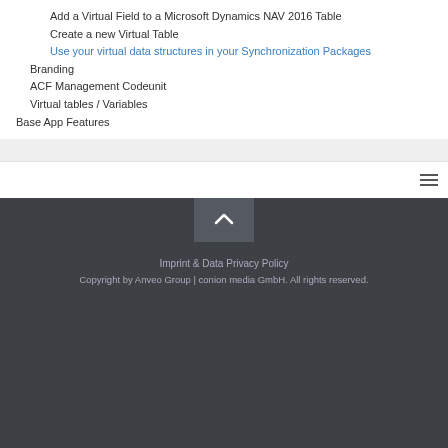Add a Virtual Field to a Microsoft Dynamics NAV 2016 Table
Create a new Virtual Table
Use your virtual data structures in your Synchronization Packages
Branding
ACF Management Codeunit
Virtual tables / Variables
Base App Features
Imprint & Data Privacy Policy
Copyright by Anveo Group | conion media GmbH. All rights reserved.